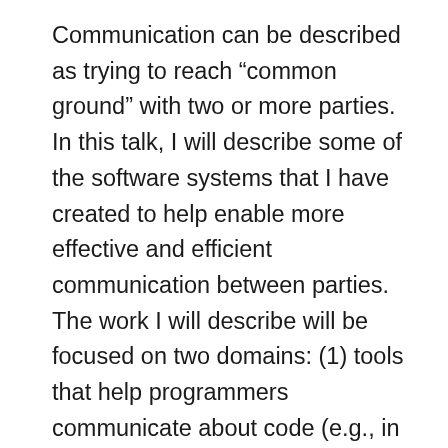Communication can be described as trying to reach “common ground” with two or more parties. In this talk, I will describe some of the software systems that I have created to help enable more effective and efficient communication between parties. The work I will describe will be focused on two domains: (1) tools that help programmers communicate about code (e.g., in the context of seeking programming help) and (2) tools that allow blind web users to overcome accessibility barriers in web pages by quickly seeking support from sighted crowd workers. In this talk, I will describe the design process for these systems, explore which aspects of communication can be